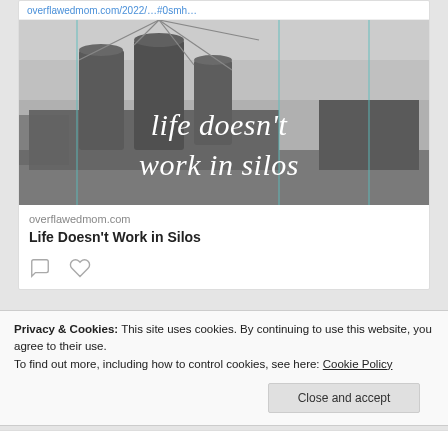overflawedmom.com/2022/…#0smh…
[Figure (photo): Black and white photo of farm silos/grain elevators with text overlay reading 'life doesn't work in silos']
overflawedmom.com
Life Doesn't Work in Silos
Privacy & Cookies: This site uses cookies. By continuing to use this website, you agree to their use.
To find out more, including how to control cookies, see here: Cookie Policy
Close and accept